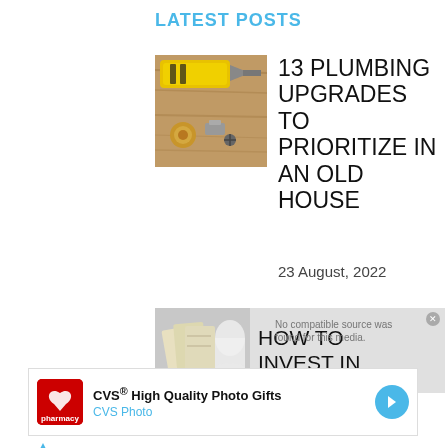LATEST POSTS
[Figure (photo): Plumbing tools and fittings on a wooden surface including a yellow tool, metal pipe fittings and screws]
13 PLUMBING UPGRADES TO PRIORITIZE IN AN OLD HOUSE
23 August, 2022
[Figure (photo): Partially visible image showing cash/money and household items, with text overlay HOW TO INVEST IN]
[Figure (other): CVS Pharmacy advertisement: CVS High Quality Photo Gifts, CVS Photo]